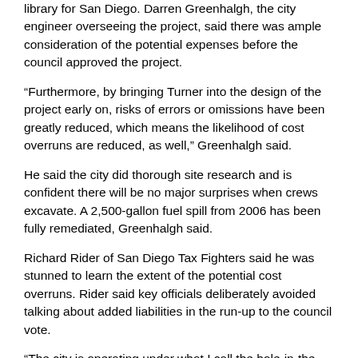library for San Diego. Darren Greenhalgh, the city engineer overseeing the project, said there was ample consideration of the potential expenses before the council approved the project.
“Furthermore, by bringing Turner into the design of the project early on, risks of errors or omissions have been greatly reduced, which means the likelihood of cost overruns are reduced, as well,” Greenhalgh said.
He said the city did thorough site research and is confident there will be no major surprises when crews excavate. A 2,500-gallon fuel spill from 2006 has been fully remediated, Greenhalgh said.
Richard Rider of San Diego Tax Fighters said he was stunned to learn the extent of the potential cost overruns. Rider said key officials deliberately avoided talking about added liabilities in the run-up to the council vote.
“The city is operating under what I call the hole-in-the-ground strategy,” he said. “You start a project, then discover ‘unforeseen costs,’ but you can’t stop now because you’ve already dug a hole in the ground.”
Brian Perlberg, a senior attorney for the Associated General Contractors of America trade group, said it is not unusual for builders to require a property owner to assume the risk for possible costs outside the developer’s control.
“For things in which the owner is in a better position to know or mitigate, it makes sense for them to take on that risk and not hold the contractor responsible,” Perlberg said.